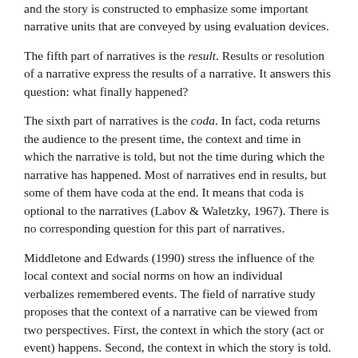and the story is constructed to emphasize some important narrative units that are conveyed by using evaluation devices.
The fifth part of narratives is the result. Results or resolution of a narrative express the results of a narrative. It answers this question: what finally happened?
The sixth part of narratives is the coda. In fact, coda returns the audience to the present time, the context and time in which the narrative is told, but not the time during which the narrative has happened. Most of narratives end in results, but some of them have coda at the end. It means that coda is optional to the narratives (Labov & Waletzky, 1967). There is no corresponding question for this part of narratives.
Middletone and Edwards (1990) stress the influence of the local context and social norms on how an individual verbalizes remembered events. The field of narrative study proposes that the context of a narrative can be viewed from two perspectives. First, the context in which the story (act or event) happens. Second, the context in which the story is told.